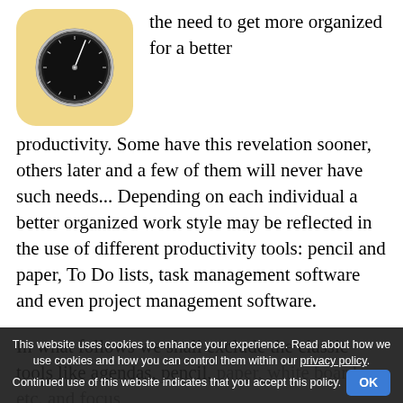[Figure (illustration): App icon showing a combination lock/safe dial on a yellow/cream rounded square background]
the need to get more organized for a better productivity. Some have this revelation sooner, others later and a few of them will never have such needs... Depending on each individual a better organized work style may be reflected in the use of different productivity tools: pencil and paper, To Do lists, task management software and even project management software.
In what follows we shall exclude the classic tools like agendas, pencil, paper, white boards, etc. and focus
This website uses cookies to enhance your experience. Read about how we use cookies and how you can control them within our privacy policy. Continued use of this website indicates that you accept this policy.